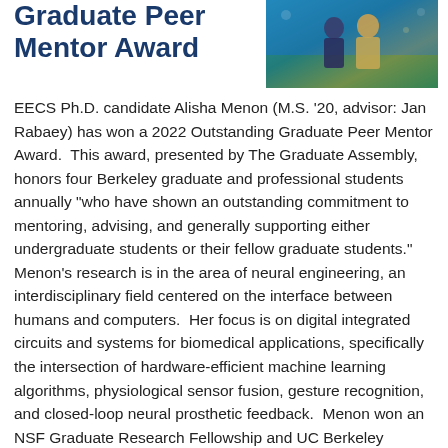Graduate Peer Mentor Award
[Figure (photo): Photo of two people at what appears to be an outdoor event with blue and green background]
EECS Ph.D. candidate Alisha Menon (M.S. '20, advisor: Jan Rabaey) has won a 2022 Outstanding Graduate Peer Mentor Award.  This award, presented by The Graduate Assembly, honors four Berkeley graduate and professional students annually "who have shown an outstanding commitment to mentoring, advising, and generally supporting either undergraduate students or their fellow graduate students."  Menon's research is in the area of neural engineering, an interdisciplinary field centered on the interface between humans and computers.  Her focus is on digital integrated circuits and systems for biomedical applications, specifically the intersection of hardware-efficient machine learning algorithms, physiological sensor fusion, gesture recognition, and closed-loop neural prosthetic feedback.  Menon won an NSF Graduate Research Fellowship and UC Berkeley Fellowship in 2018.  She is also an accomplished theater actress and Indian Classical dancer.